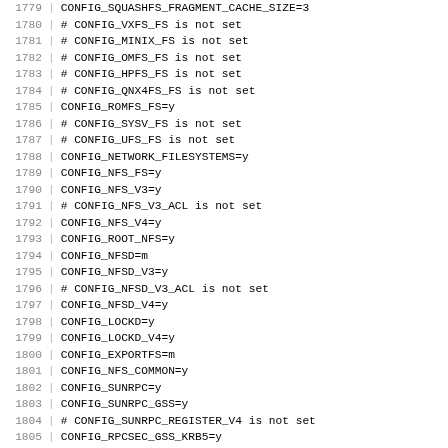1779 | CONFIG_SQUASHFS_FRAGMENT_CACHE_SIZE=3
1780 | # CONFIG_VXFS_FS is not set
1781 | # CONFIG_MINIX_FS is not set
1782 | # CONFIG_OMFS_FS is not set
1783 | # CONFIG_HPFS_FS is not set
1784 | # CONFIG_QNX4FS_FS is not set
1785 | CONFIG_ROMFS_FS=y
1786 | # CONFIG_SYSV_FS is not set
1787 | # CONFIG_UFS_FS is not set
1788 | CONFIG_NETWORK_FILESYSTEMS=y
1789 | CONFIG_NFS_FS=y
1790 | CONFIG_NFS_V3=y
1791 | # CONFIG_NFS_V3_ACL is not set
1792 | CONFIG_NFS_V4=y
1793 | CONFIG_ROOT_NFS=y
1794 | CONFIG_NFSD=m
1795 | CONFIG_NFSD_V3=y
1796 | # CONFIG_NFSD_V3_ACL is not set
1797 | CONFIG_NFSD_V4=y
1798 | CONFIG_LOCKD=y
1799 | CONFIG_LOCKD_V4=y
1800 | CONFIG_EXPORTFS=m
1801 | CONFIG_NFS_COMMON=y
1802 | CONFIG_SUNRPC=y
1803 | CONFIG_SUNRPC_GSS=y
1804 | # CONFIG_SUNRPC_REGISTER_V4 is not set
1805 | CONFIG_RPCSEC_GSS_KRB5=y
1806 | # CONFIG_RPCSEC_GSS_SPKM3 is not set
1807 | # CONFIG_SMB_FS is not set
1808 | CONFIG_CIFS=m
1809 | # CONFIG_CIFS_STATS is not set